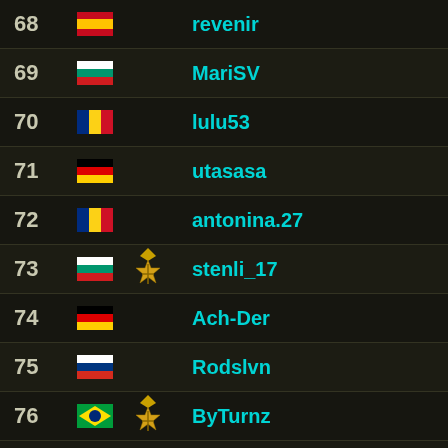68 [Spain flag] revenir
69 [Bulgaria flag] MariSV
70 [Romania flag] lulu53
71 [Germany flag] utasasa
72 [Romania flag] antonina.27
73 [Bulgaria flag] [medal] stenli_17
74 [Germany flag] Ach-Der
75 [Russia flag] Rodslvn
76 [Brazil flag] [medal] ByTurnz